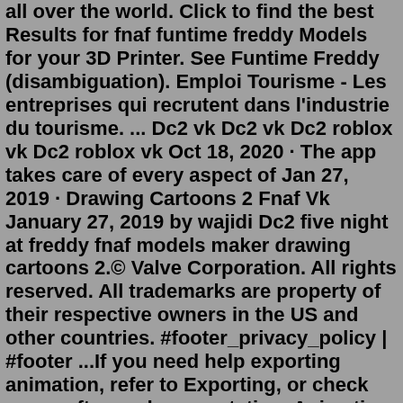all over the world. Click to find the best Results for fnaf funtime freddy Models for your 3D Printer. See Funtime Freddy (disambiguation). Emploi Tourisme - Les entreprises qui recrutent dans l'industrie du tourisme. ... Dc2 vk Dc2 vk Dc2 roblox vk Dc2 roblox vk Oct 18, 2020 · The app takes care of every aspect of Jan 27, 2019 · Drawing Cartoons 2 Fnaf Vk January 27, 2019 by wajidi Dc2 five night at freddy fnaf models maker drawing cartoons 2.© Valve Corporation. All rights reserved. All trademarks are property of their respective owners in the US and other countries. #footer_privacy_policy | #footer ...If you need help exporting animation, refer to Exporting, or check your software documentation. Animation is currently supported for FBX, Blender (.blend), Alembic (.abc), glTF, and Mimesys Q3D formats. We support: Solid animation: translation, scale, rotation. Skeleton-based animation: model rigged with bones. Kudos to E_A for making the FNAF Models and OscartheChinchilla for the Edit and the MMD Port 2 Prototype 2 Role in Sister